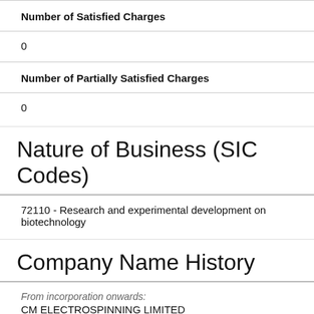Number of Satisfied Charges
0
Number of Partially Satisfied Charges
0
Nature of Business (SIC Codes)
72110 - Research and experimental development on biotechnology
Company Name History
From incorporation onwards:
CM ELECTROSPINNING LIMITED